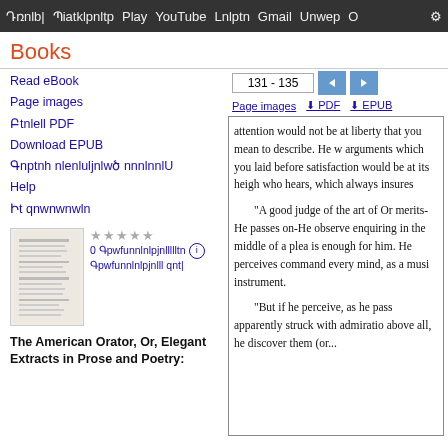Դռnel | Պiatկeрнeр | Play | YouTube | Lnlptn | Gmail | Unwep | O | ⚙
Books
Read eBook
Page images
Բtnlell PDF
Download EPUB
Գnptnh nlenluljnlwծ nnnlnnlU
Help
Իt qnwnwnwln
★★★★★
0 Գpwfunnlnlpjnllllltn i
Գpwfunnlnlpjnlll qnt|
The American Orator, Or, Elegant Extracts in Prose and Poetry:
[Figure (screenshot): Page number navigation showing '131 - 135' with left and right arrow buttons, and download links for Page images, PDF, and EPUB]
attention would not be at liberty that you mean to describe. He w arguments which you laid before satisfaction would be at its heigh who hears, which always insures

"A good judge of the art of Or merits-He passes on-He observe enquiring in the middle of a plea is enough for him. He perceives command every mind, as a musi instrument.

"But if he perceive, as he pass apparently struck with admiratio above all, he discover them (or...